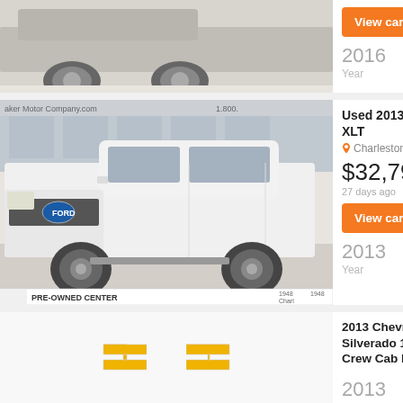[Figure (photo): Partial top listing: sedan car photo (cropped), with 'View car >' button and year 2016 info on right side]
View car >
2016
Year
Used 2013 Ford F150 XLT
Charleston
$32,798
27 days ago
View car >
[Figure (photo): Used 2013 Ford F150 XLT white pickup truck parked in pre-owned center dealership]
2013
Year
2013 Chevrolet Silverado 1500 LT Crew Cab Pickup Four Wheel
Davie
$22,645
27 days ago
View car >
[Figure (logo): Chevrolet gold bowtie logo on white background]
2013
Year